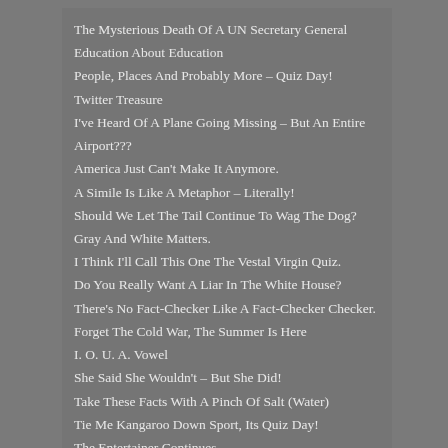The Mysterious Death Of A UN Secretary General
Education About Education
People, Places And Probably More – Quiz Day!
Twitter Treasure
I've Heard Of A Plane Going Missing – But An Entire Airport???
America Just Can't Make It Anymore.
A Simile Is Like A Metaphor – Literally!
Should We Let The Tail Continue To Wag The Dog?
Gray And White Matters.
I Think I'll Call This One The Vestal Virgin Quiz.
Do You Really Want A Liar In The White House?
There's No Fact-Checker Like A Fact-Checker Checker.
Forget The Cold War, The Summer Is Here
I. O. U. A. Vowel
She Said She Wouldn't – But She Did!
Take These Facts With A Pinch Of Salt (Water)
Tie Me Kangaroo Down Sport, Its Quiz Day!
The Entertainer Continues
Sacre Bleu! – Er, Make That Red White And Bleu!